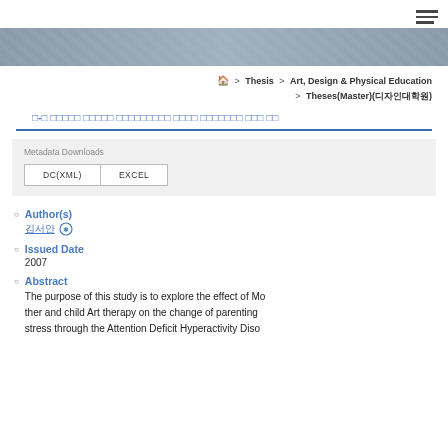≡ (hamburger menu)
[Figure (photo): Hero banner with abstract grey architectural background]
🏠 > Thesis > Art, Design & Physical Education > Theses(Master)(디자인대학원)
□-□ □□□□□ □□□□□ □□□□□□□□□ □□□□ □□□□□□□ □□□ □□
Metadata Downloads
DC(XML)   EXCEL
Author(s)
김서안 🔗
Issued Date
2007
Abstract
The purpose of this study is to explore the effect of Mother and child Art therapy on the change of parenting stress through the Attention Deficit Hyperactivity Diso